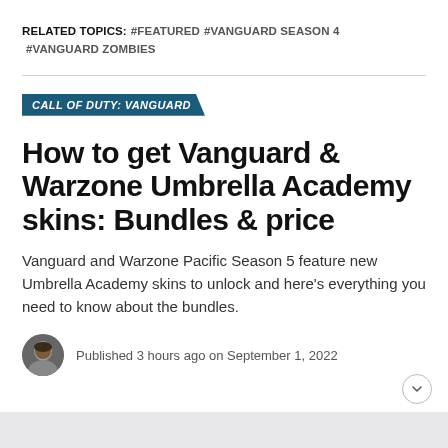RELATED TOPICS:  #FEATURED  #VANGUARD SEASON 4  #VANGUARD ZOMBIES
CALL OF DUTY: VANGUARD
How to get Vanguard & Warzone Umbrella Academy skins: Bundles & price
Vanguard and Warzone Pacific Season 5 feature new Umbrella Academy skins to unlock and here's everything you need to know about the bundles.
Published 3 hours ago on September 1, 2022